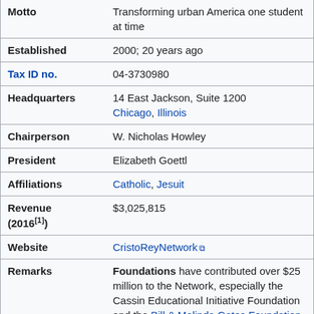| Field | Value |
| --- | --- |
| Motto | Transforming urban America one student at time |
| Established | 2000; 20 years ago |
| Tax ID no. | 04-3730980 |
| Headquarters | 14 East Jackson, Suite 1200
Chicago, Illinois |
| Chairperson | W. Nicholas Howley |
| President | Elizabeth Goettl |
| Affiliations | Catholic, Jesuit |
| Revenue (2016[1]) | $3,025,815 |
| Website | CristoReyNetwork |
| Remarks | Foundations have contributed over $25 million to the Network, especially the Cassin Educational Initiative Foundation and the Bill & Melinda Gates Foundation along with the Walton Family Foundation |